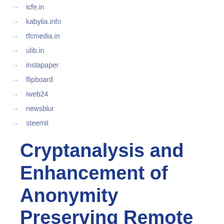icfe.in
kabylia.info
tfcmedia.in
ulib.in
instapaper
flipboard
iweb24
newsblur
steemit
Cryptanalysis and Enhancement of Anonymity Preserving Remote User Mutual Authentication and